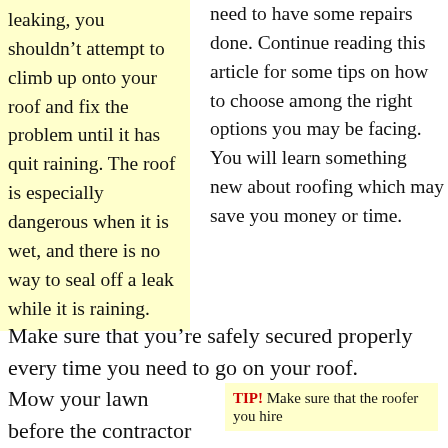leaking, you shouldn't attempt to climb up onto your roof and fix the problem until it has quit raining. The roof is especially dangerous when it is wet, and there is no way to seal off a leak while it is raining.
need to have some repairs done. Continue reading this article for some tips on how to choose among the right options you may be facing. You will learn something new about roofing which may save you money or time.
Make sure that you're safely secured properly every time you need to go on your roof.
Mow your lawn before the contractor work on your roof. This will ensure he can
TIP! Make sure that the roofer you hire